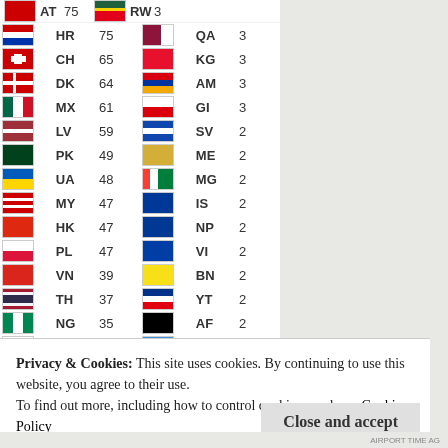| Flag | Code | Count | Flag | Code | Count |
| --- | --- | --- | --- | --- | --- |
| AT | 75 | RW | 3 |
| HR | 75 | QA | 3 |
| CH | 65 | KG | 3 |
| DK | 64 | AM | 3 |
| MX | 61 | GI | 3 |
| LV | 59 | SV | 2 |
| PK | 49 | ME | 2 |
| UA | 48 | MG | 2 |
| MY | 47 | IS | 2 |
| HK | 47 | NP | 2 |
| PL | 47 | VI | 2 |
| VN | 39 | BN | 2 |
| TH | 37 | YT | 2 |
| NG | 35 | AF | 2 |
| BG | 35 | AW | 2 |
| CZ | 32 | CV | 1 |
| IL | 29 | DO | 1 |
Privacy & Cookies: This site uses cookies. By continuing to use this website, you agree to their use.
To find out more, including how to control cookies, see here: Cookie Policy
Close and accept
AIRPORT TIME AG